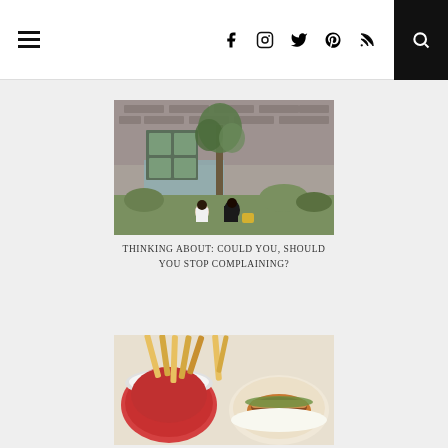Navigation bar with hamburger menu, social icons (Facebook, Instagram, Twitter, Pinterest, RSS), and search button
[Figure (photo): Two women sitting outdoors in front of an old brick building with greenery and a tree]
THINKING ABOUT: COULD YOU, SHOULD YOU STOP COMPLAINING?
[Figure (photo): Food photograph showing fries with dipping sauce and a sandwich/burger on a plate]